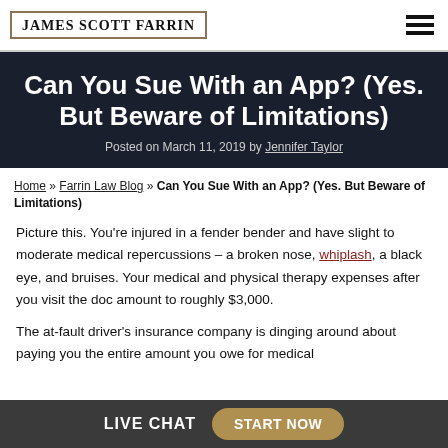James Scott Farrin
Can You Sue With an App? (Yes. But Beware of Limitations)
Posted on March 11, 2019 by Jennifer Taylor
Home » Farrin Law Blog » Can You Sue With an App? (Yes. But Beware of Limitations)
Picture this. You're injured in a fender bender and have slight to moderate medical repercussions – a broken nose, whiplash, a black eye, and bruises. Your medical and physical therapy expenses after you visit the doc amount to roughly $3,000.
The at-fault driver's insurance company is dinging around about paying you the entire amount you owe for medical
LIVE CHAT   START NOW